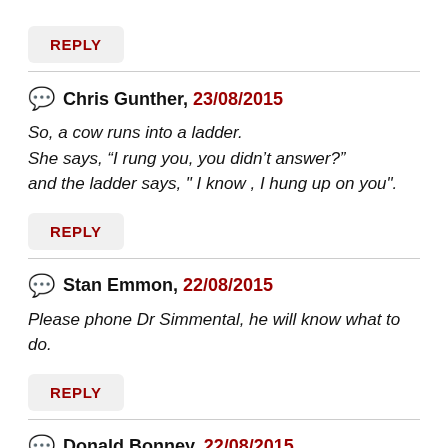REPLY
Chris Gunther, 23/08/2015
So, a cow runs into a ladder.
She says, “I rung you, you didn’t answer?”
and the ladder says, " I know , I hung up on you".
REPLY
Stan Emmon, 22/08/2015
Please phone Dr Simmental, he will know what to do.
REPLY
Donald Bonney, 22/08/2015